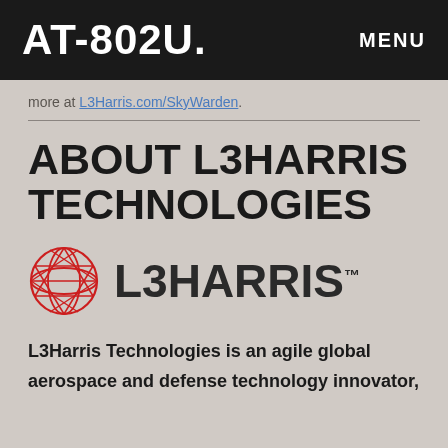AT-802U   MENU
more at L3Harris.com/SkyWarden.
ABOUT L3HARRIS TECHNOLOGIES
[Figure (logo): L3Harris Technologies logo: red geodesic globe icon on the left, L3HARRIS wordmark in dark gray with TM superscript on the right]
L3Harris Technologies is an agile global aerospace and defense technology innovator,